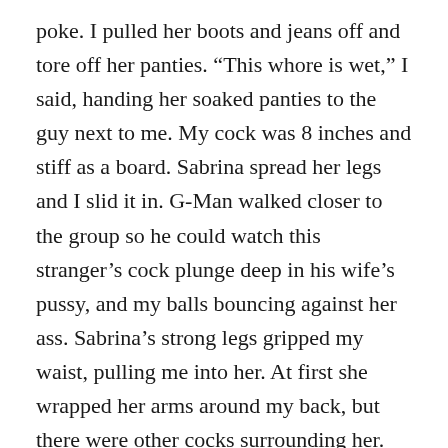poke. I pulled her boots and jeans off and tore off her panties. “This whore is wet,” I said, handing her soaked panties to the guy next to me. My cock was 8 inches and stiff as a board. Sabrina spread her legs and I slid it in. G-Man walked closer to the group so he could watch this stranger’s cock plunge deep in his wife’s pussy, and my balls bouncing against her ass. Sabrina’s strong legs gripped my waist, pulling me into her. At first she wrapped her arms around my back, but there were other cocks surrounding her. Soon she had a cock in each hand as well. Another b*o knelt beside us on the pool table and shoved his cock in her mouth. Other hands reached around me, shoved up Sabrina’s top and kneaded her breasts. Sabrina grunted and writhed. Soon I pulled out and another b*o shoved